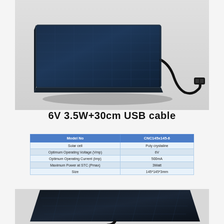[Figure (photo): Solar panel with USB cable attached, viewed from top-front angle on white/grey background]
6V 3.5W+30cm USB cable
| Model No | CNC145x145-6 |
| --- | --- |
| Solar cell | Poly crystaline |
| Optimum Operating Voltage (Vmp) | 6V |
| Optimum Operating Current (Imp) | 500mA |
| Maximum Power at STC (Pmax) | 3Watt |
| Size | 145*145*3mm |
[Figure (photo): Solar panel with cable, viewed from top angle, dark background, partial view]